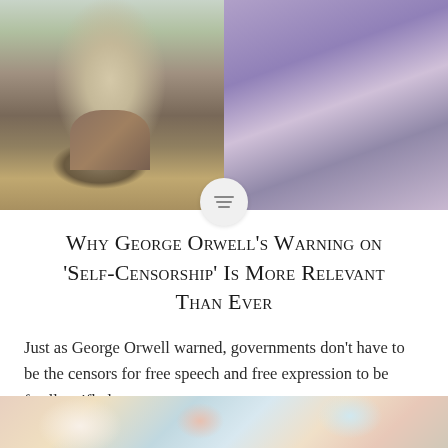[Figure (photo): Two photos side by side: left shows a man in a tweed jacket and tie (appears to be a period/vintage photo, likely representing George Orwell), right shows a woman with dark hair wearing a purple top, appears to be a TV screenshot. A circular icon with a menu/list symbol overlaps the two photos at the bottom center.]
Why George Orwell's Warning on 'Self-Censorship' Is More Relevant Than Ever
Just as George Orwell warned, governments don't have to be the censors for free speech and free expression to be fatally stifled.
[Figure (photo): Partial image at the bottom of the page showing what appears to be hands and colorful fabric or flowers.]